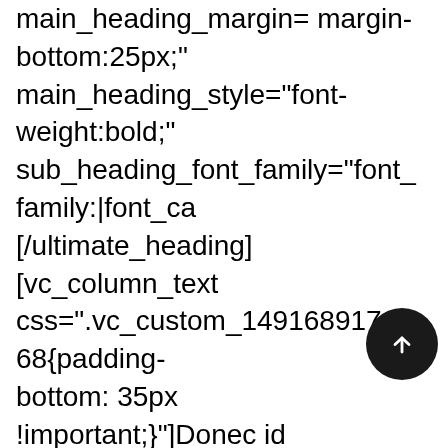main_heading_margin= margin-bottom:25px;" main_heading_style="font-weight:bold;" sub_heading_font_family="font_family:|font_ca [/ultimate_heading][vc_column_text css=".vc_custom_1491689176868{padding-bottom: 35px !important;}"]Donec id rutrum dui, id pellentesque risus. Proin ac nisl fringilla, accumsan erat sed, pretium est. Donec in accumsan velit! Vestibulum a luctus est, in fermentum lacus. Sed bibendum convallis sem. Nunc ac hendrerit tortor. Nullam non feugiat quam. Integer id vehicula velit curabitur odio.[/vc_column_text]
[Figure (other): Black circular scroll-to-top button with white upward arrow]